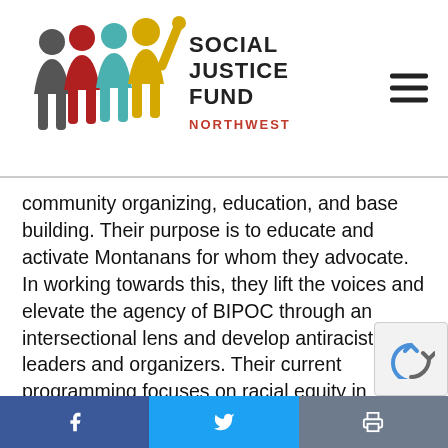[Figure (logo): Social Justice Fund Northwest logo with colorful silhouette figures and text]
community organizing, education, and base building. Their purpose is to educate and activate Montanans for whom they advocate. In working towards this, they lift the voices and elevate the agency of BIPOC through an intersectional lens and develop antiracist leaders and organizers. Their current programming focuses on racial equity in education and criminal justice, and the intersection between the two. This includes transforming school curriculums, advocating for restorative justice practices in public schools, and diminishing the power and violence of the police force.
f  [Twitter bird]  [Print icon]